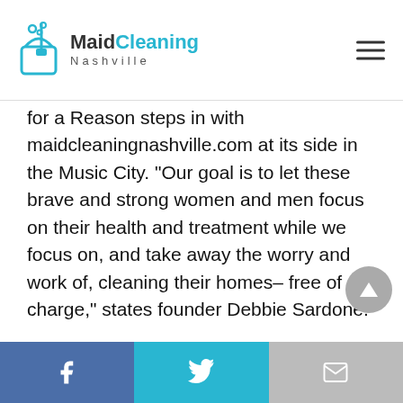MaidCleaning Nashville
for a Reason steps in with maidcleaningnashville.com at its side in the Music City. “Our goal is to let these brave and strong women and men focus on their health and treatment while we focus on, and take away the worry and work of, cleaning their homes– free of charge,” states founder Debbie Sardone.
As a small, family-owned, local business based in Nashville, maidcleaningnashville.com owner Victor Vargas was instantly on board with this mission. “It’s a privilege to participate in such a worthy